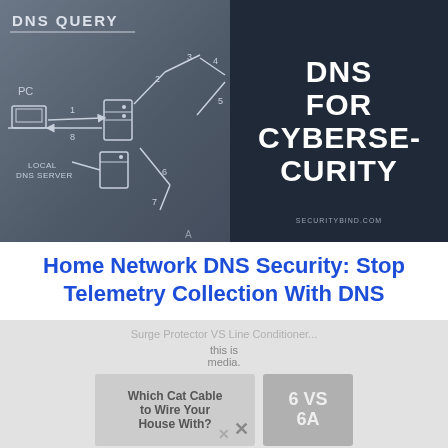[Figure (illustration): Split image: left side shows a chalkboard-style DNS query diagram with 'DNS QUERY' text, arrows, PC label, numbered steps 1-8, and LOCAL DNS SERVER label. Right side shows dark background with bold white text 'DNS FOR CYBERSECURITY' and 'SECURITYBIND.COM' at the bottom.]
Home Network DNS Security: Stop Telemetry Collection With DNS
[Figure (screenshot): Overlay popup showing related article thumbnails: 'Surge Protector VS Line Conditioner...' text at top, 'Which Cat Cable to Wire Your House With?' thumbnail on left, and a '6 VS 6A' thumbnail on the right, with a close X button.]